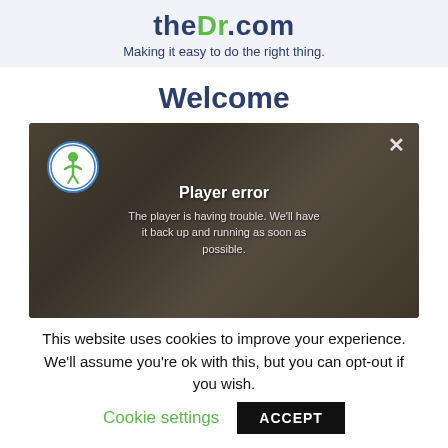theDr.com — Making it easy to do the right thing.
Welcome
[Figure (screenshot): Video player screenshot showing a man with grey hair in an indoor setting. A circular logo with a green figure is in the top left. A white X close button is in the top right. A player error overlay reads: 'Player error — The player is having trouble. We'll have it back up and running as soon as possible.']
This website uses cookies to improve your experience. We'll assume you're ok with this, but you can opt-out if you wish. Cookie settings ACCEPT